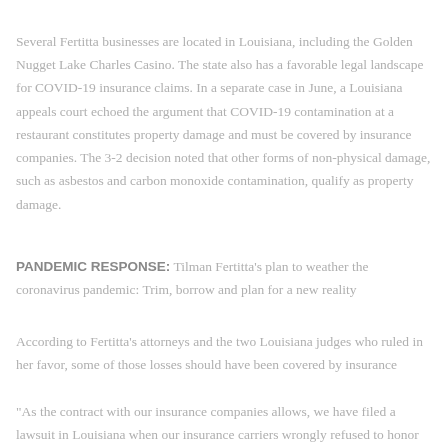Several Fertitta businesses are located in Louisiana, including the Golden Nugget Lake Charles Casino. The state also has a favorable legal landscape for COVID-19 insurance claims. In a separate case in June, a Louisiana appeals court echoed the argument that COVID-19 contamination at a restaurant constitutes property damage and must be covered by insurance companies. The 3-2 decision noted that other forms of non-physical damage, such as asbestos and carbon monoxide contamination, qualify as property damage.
PANDEMIC RESPONSE: Tilman Fertitta's plan to weather the coronavirus pandemic: Trim, borrow and plan for a new reality
According to Fertitta's attorneys and the two Louisiana judges who ruled in her favor, some of those losses should have been covered by insurance
"As the contract with our insurance companies allows, we have filed a lawsuit in Louisiana when our insurance carriers wrongly refused to honor our policies and claims," said Steve Scheinthal, executive vice president and